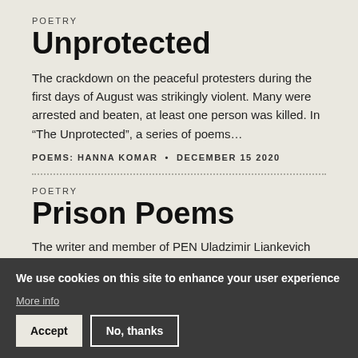POETRY
Unprotected
The crackdown on the peaceful protesters during the first days of August was strikingly violent. Many were arrested and beaten, at least one person was killed. In “The Unprotected”, a series of poems…
POEMS: HANNA KOMAR • DECEMBER 15 2020
POETRY
Prison Poems
The writer and member of PEN Uladzimir Liankevich was arrested during a peaceful manifestation in Minsk. He was sentenced to six days in prison. He was all…
We use cookies on this site to enhance your user experience
More info
Accept
No, thanks